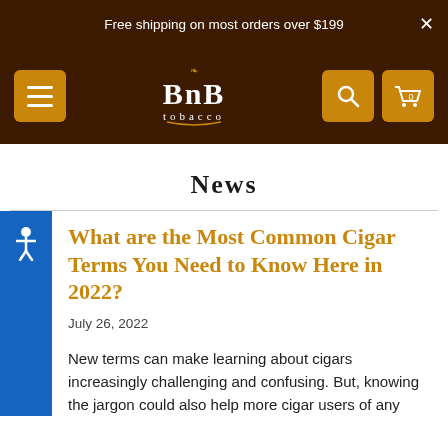Free shipping on most orders over $199
[Figure (logo): BnB Tobacco logo with navigation bar including hamburger menu, search, and cart buttons on dark brown background]
News
What are the Most Common Cigar Terms You Need to Know Here in 2022?
July 26, 2022
New terms can make learning about cigars increasingly challenging and confusing. But, knowing the jargon could also help more cigar users of any